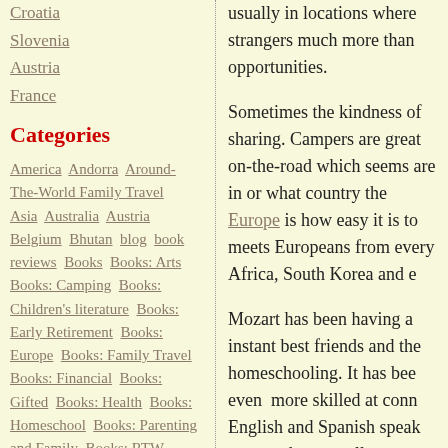Croatia
Slovenia
Austria
France
Categories
America  Andorra  Around-The-World Family Travel  Asia  Australia  Austria  Belgium  Bhutan  blog  book reviews  Books  Books: Arts  Books: Camping  Books: Children's literature  Books: Early Retirement  Books: Europe  Books: Family Travel  Books: Financial  Books: Gifted  Books: Health  Books: Homeschool  Books: Parenting and Family  Books: RTW Travel  Books: Travel Books for kids  budget travel tips  bulgaria  camping Europe  Camping or roadtrip  China
usually in locations where strangers much more than opportunities.
Sometimes the kindness of sharing. Campers are great on-the-road which seems are in or what country the Europe is how easy it is to meets Europeans from every Africa, South Korea and e
Mozart has been having a instant best friends and the homeschooling. It has bee even  more skilled at conn English and Spanish speak managed very well even w